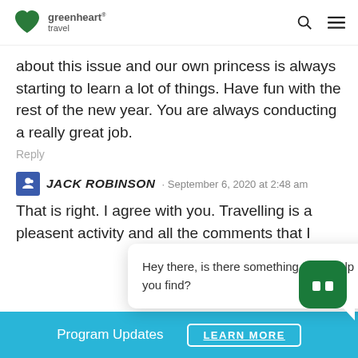[Figure (logo): Greenheart Travel logo with green heart icon and brand name]
about this issue and our own princess is always starting to learn a lot of things. Have fun with the rest of the new year. You are always conducting a really great job.
Reply
JACK ROBINSON · September 6, 2020 at 2:48 am
That is right. I agree with you. Travelling is a pleasent activity and all the comments that I
Hey there, is there something I can help you find?
Reply
Program Updates
LEARN MORE